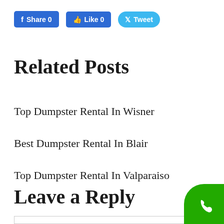[Figure (screenshot): Social sharing buttons: Share 0 (Facebook), Like 0 (Facebook), Tweet (Twitter)]
Related Posts
Top Dumpster Rental In Wisner
Best Dumpster Rental In Blair
Top Dumpster Rental In Valparaiso
Leave a Reply
[Figure (illustration): Green phone call button in bottom-right corner]